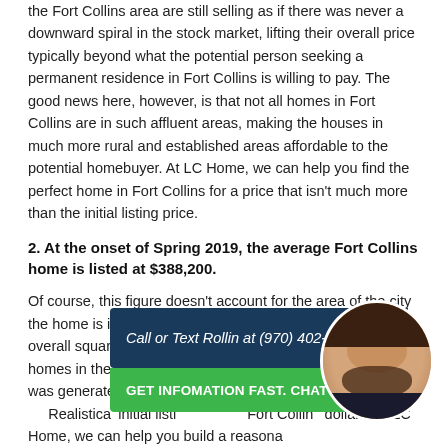the Fort Collins area are still selling as if there was never a downward spiral in the stock market, lifting their overall price typically beyond what the potential person seeking a permanent residence in Fort Collins is willing to pay. The good news here, however, is that not all homes in Fort Collins are in such affluent areas, making the houses in much more rural and established areas affordable to the potential homebuyer. At LC Home, we can help you find the perfect home in Fort Collins for a price that isn't much more than the initial listing price.
2. At the onset of Spring 2019, the average Fort Collins home is listed at $388,200.
Of course, this figure doesn't account for the area of the city the home is in, or the countless variety of floorplans and overall square footage that can be found throughout different homes in the Northern Colorado region. The figure above was generated by averaging the listing cost of all pro... Realistica... initial listi... Fort Collin... dollars. At LC Home, we can help you build a reasona...
Call or Text Rollin at (970) 402-6432
GET INFOMATION FAST. CHAT NOW!